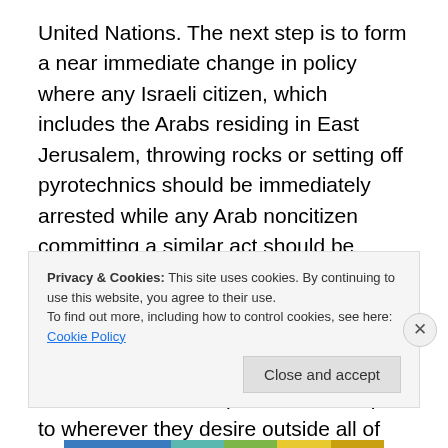United Nations. The next step is to form a near immediate change in policy where any Israeli citizen, which includes the Arabs residing in East Jerusalem, throwing rocks or setting off pyrotechnics should be immediately arrested while any Arab noncitizen committing a similar act should be given a ticket on an El Al aircraft and flown to either the nation they chose or the closest such nation willing to accept them until their flight on an additional ticket boards to complete their transport to wherever they desire outside all of Israel permanently. The only other option is to build extremely large detention centers and in one section hold
Privacy & Cookies: This site uses cookies. By continuing to use this website, you agree to their use. To find out more, including how to control cookies, see here: Cookie Policy
Close and accept